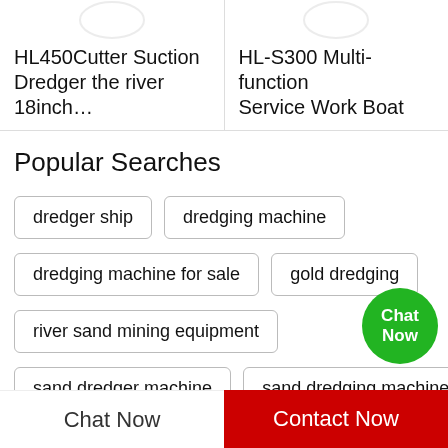HL450Cutter Suction Dredger the river 18inch…
HL-S300 Multi-function Service Work Boat
Popular Searches
dredger ship
dredging machine
dredging machine for sale
gold dredging
river sand mining equipment
sand dredger machine
sand dredging machine
Chat Now
Chat Now
Contact Now